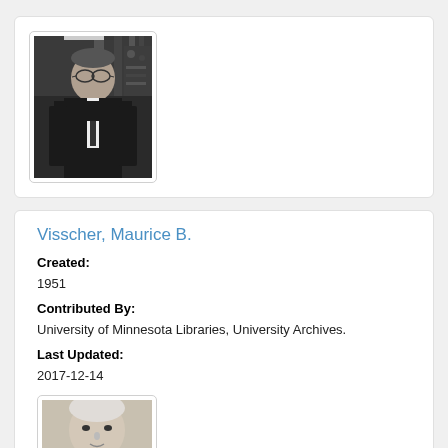[Figure (photo): Black and white photograph of an older man in a suit and glasses, standing in front of shelves with equipment]
Visscher, Maurice B.
Created:
1951
Contributed By:
University of Minnesota Libraries, University Archives.
Last Updated:
2017-12-14
[Figure (photo): Black and white portrait photograph of a person, partially visible at bottom of page]